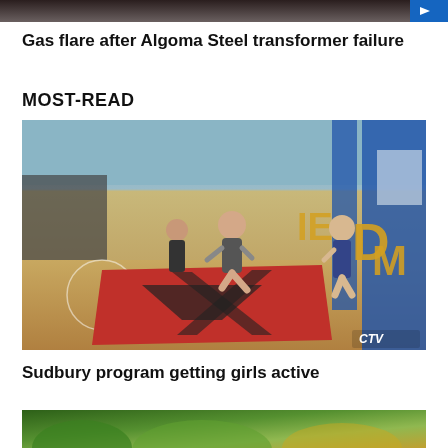[Figure (photo): Partial screenshot of a news story thumbnail image at top, partially cropped]
Gas flare after Algoma Steel transformer failure
MOST-READ
[Figure (photo): Girls performing gymnastics/dance in a school gymnasium with red and black mats on the floor and blue banners on the wall. CTV watermark visible.]
Sudbury program getting girls active
[Figure (photo): Partially visible bottom thumbnail image showing green foliage]